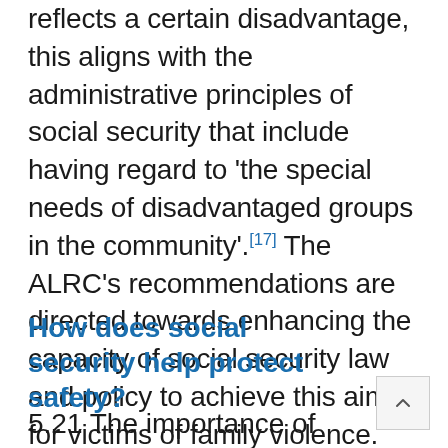reflects a certain disadvantage, this aligns with the administrative principles of social security that include having regard to 'the special needs of disadvantaged groups in the community'.[17] The ALRC's recommendations are directed towards enhancing the capacity of social security law and policy to achieve this aim for victims of family violence.
How does social security help protect safety?
5.21 The importance of financial